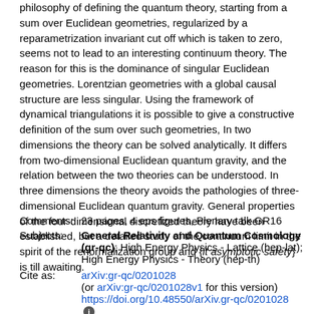philosophy of defining the quantum theory, starting from a sum over Euclidean geometries, regularized by a reparametrization invariant cut off which is taken to zero, seems not to lead to an interesting continuum theory. The reason for this is the dominance of singular Euclidean geometries. Lorentzian geometries with a global causal structure are less singular. Using the framework of dynamical triangulations it is possible to give a constructive definition of the sum over such geometries, In two dimensions the theory can be solved analytically. It differs from two-dimensional Euclidean quantum gravity, and the relation between the two theories can be understood. In three dimensions the theory avoids the pathologies of three-dimensional Euclidean quantum gravity. General properties of the four-dimensional discretized theory have been established, but a detailed study of the continuum limit in the spirit of the renormalization group and {\it asymptotic safety} is till awaiting.
Comments: 23 pages, 4 eps figures, Plenary talk GR16
Subjects: General Relativity and Quantum Cosmology (gr-qc); High Energy Physics - Lattice (hep-lat); High Energy Physics - Theory (hep-th)
Cite as: arXiv:gr-qc/0201028
(or arXiv:gr-qc/0201028v1 for this version)
https://doi.org/10.48550/arXiv.gr-qc/0201028